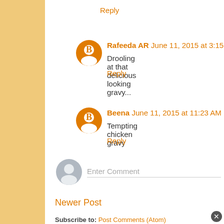Reply
Rafeeda AR  June 11, 2015 at 3:15 AM
Drooling at that delicious looking gravy...
Reply
Beena  June 11, 2015 at 11:23 AM
Tempting chicken gravy
Reply
Enter Comment
Newer Post
Subscribe to: Post Comments (Atom)